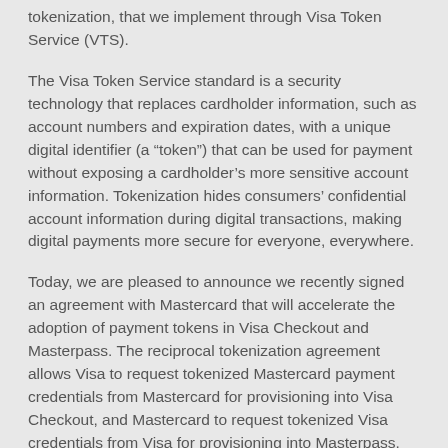tokenization, that we implement through Visa Token Service (VTS).
The Visa Token Service standard is a security technology that replaces cardholder information, such as account numbers and expiration dates, with a unique digital identifier (a “token”) that can be used for payment without exposing a cardholder’s more sensitive account information. Tokenization hides consumers’ confidential account information during digital transactions, making digital payments more secure for everyone, everywhere.
Today, we are pleased to announce we recently signed an agreement with Mastercard that will accelerate the adoption of payment tokens in Visa Checkout and Masterpass. The reciprocal tokenization agreement allows Visa to request tokenized Mastercard payment credentials from Mastercard for provisioning into Visa Checkout, and Mastercard to request tokenized Visa credentials from Visa for provisioning into Masterpass. By allowing each network to request tokenized payment credentials from the other network, this